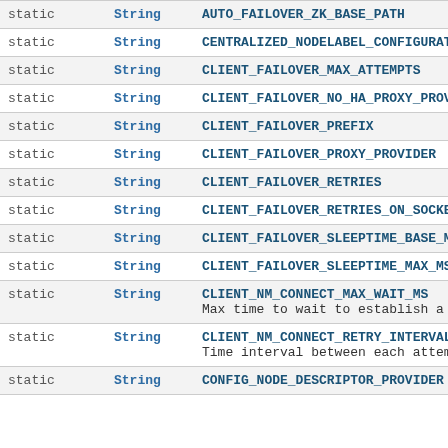| Modifier | Type | Field / Description |
| --- | --- | --- |
| static | String | AUTO_FAILOVER_ZK_BASE_PATH |
| static | String | CENTRALIZED_NODELABEL_CONFIGURAT… |
| static | String | CLIENT_FAILOVER_MAX_ATTEMPTS |
| static | String | CLIENT_FAILOVER_NO_HA_PROXY_PROV… |
| static | String | CLIENT_FAILOVER_PREFIX |
| static | String | CLIENT_FAILOVER_PROXY_PROVIDER |
| static | String | CLIENT_FAILOVER_RETRIES |
| static | String | CLIENT_FAILOVER_RETRIES_ON_SOCKE… |
| static | String | CLIENT_FAILOVER_SLEEPTIME_BASE_M… |
| static | String | CLIENT_FAILOVER_SLEEPTIME_MAX_MS… |
| static | String | CLIENT_NM_CONNECT_MAX_WAIT_MS | Max time to wait to establish a conne… |
| static | String | CLIENT_NM_CONNECT_RETRY_INTERVAL… | Time interval between each attempt t… |
| static | String | CONFIG_NODE_DESCRIPTOR_PROVIDER |